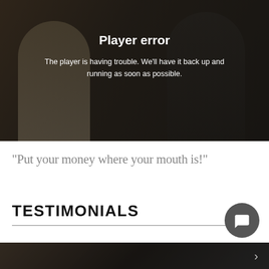[Figure (screenshot): Video player error screen showing two people in the background with a dark overlay. Displays 'Player error' title and error message text in white.]
"Put your money where your mouth is!"
TESTIMONIALS